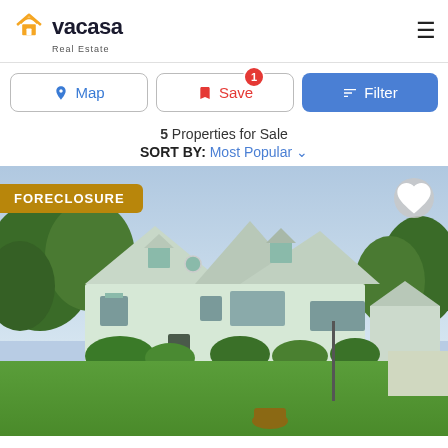[Figure (logo): Vacasa Real Estate logo with house icon]
Map
Save 1
Filter
5 Properties for Sale
SORT BY: Most Popular
[Figure (photo): Foreclosure property listing photo showing a white/light green New England style home with metal roof, surrounded by trees and large green lawn with a tree stump in foreground]